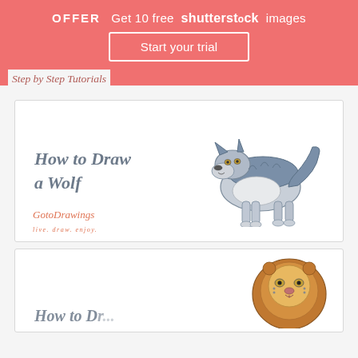OFFER  Get 10 free shutterstock images
Start your trial
Step by Step Tutorials
[Figure (illustration): Card with text 'How to Draw a Wolf' and an illustrated wolf drawing. GotoDrawings logo at bottom left.]
[Figure (illustration): Partially visible card with 'How to Draw a...' text and a lion illustration at bottom right.]